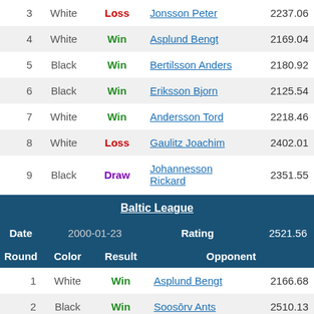| Round | Color | Result | Opponent | Rating |
| --- | --- | --- | --- | --- |
| 3 | White | Loss | Jonsson Peter | 2237.06 |
| 4 | White | Win | Asplund Bengt | 2169.04 |
| 5 | Black | Win | Bertilsson Anders | 2180.92 |
| 6 | Black | Win | Eriksson Bjorn | 2125.54 |
| 7 | White | Win | Andersson Tord | 2218.46 |
| 8 | White | Loss | Gaulitz Joachim | 2402.01 |
| 9 | Black | Draw | Johannesson Rickard | 2351.55 |
| Date | 2000-01-23 | Rating | 2521.56 |
| --- | --- | --- | --- |
| Round | Color | Result | Opponent |  |
| 1 | White | Win | Asplund Bengt | 2166.68 |
| 2 | Black | Win | Soosōrv Ants | 2510.13 |
| 3 | White | Win | Gaulitz Joachim | 2390.80 |